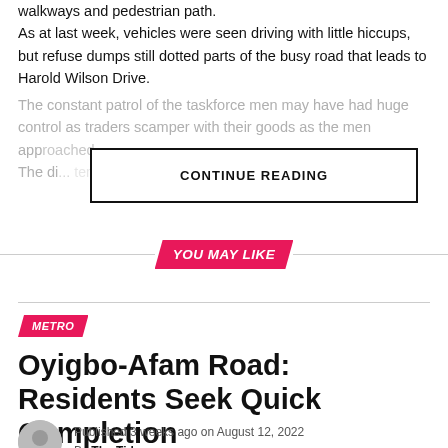walkways and pedestrian path. As at last week, vehicles were seen driving with little hiccups, but refuse dumps still dotted parts of the busy road that leads to Harold Wilson Drive.
The constant patrol of the taskforce men may have had huge control as traders scamper with their goods as the men approached. The di... [faded]
CONTINUE READING
YOU MAY LIKE
METRO
Oyigbo-Afam Road: Residents Seek Quick Completion
Published 3 weeks ago on August 12, 2022 By The Tide